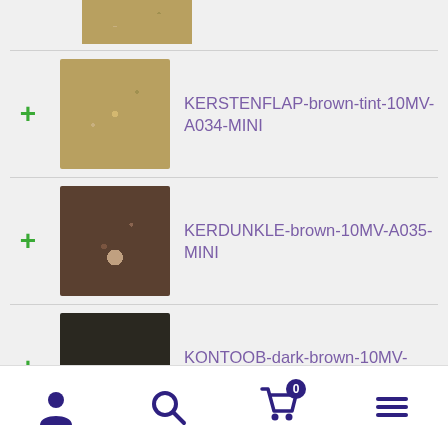[Figure (screenshot): Partial product thumbnail at top of scroll list]
KERSTENFLAP-brown-tint-10MV-A034-MINI
KERDUNKLE-brown-10MV-A035-MINI
KONTOOB-dark-brown-10MV-A036-MINI
QUEDONIUM-coffee-brown-10MV-A038-MINI
Albuquerque Mini Mix 3/8-Inch (10mm) 1-lb
Navigation bar with user, search, cart (0), and menu icons